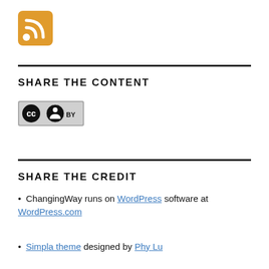[Figure (logo): RSS feed icon - orange rounded square with white RSS signal symbol]
SHARE THE CONTENT
[Figure (logo): Creative Commons BY license badge - grey rectangle with CC and person icon and BY text]
SHARE THE CREDIT
ChangingWay runs on WordPress software at WordPress.com
Simpla theme designed by Phy Lu